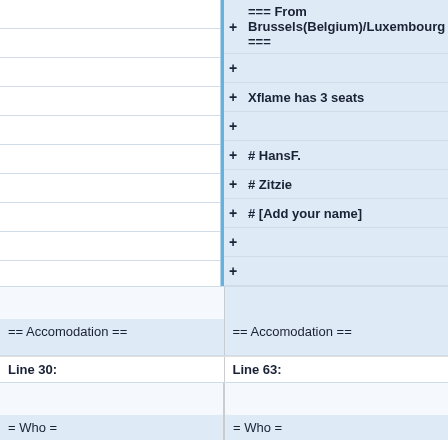+  === From Brussels(Belgium)/Luxembourg ===
+
+ Xflame has 3 seats
+
+ # HansF.
+ # Zitzie
+ # [Add your name]
+
+
== Accomodation ==
== Accomodation ==
Line 30:
Line 63:
= Who =
= Who =